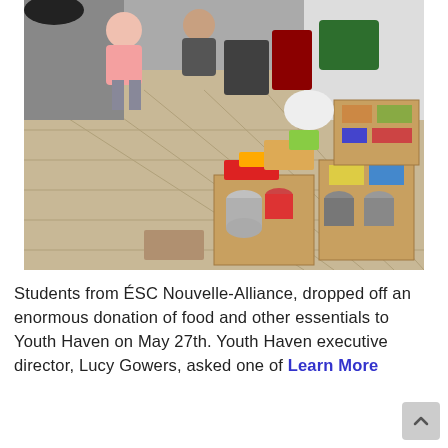[Figure (photo): Photo showing cardboard boxes filled with canned goods and food donations on a tiled floor. Students sitting along a wall with bags and supplies visible in the background. The setting appears to be a hallway or corridor.]
Students from ÉSC Nouvelle-Alliance, dropped off an enormous donation of food and other essentials to Youth Haven on May 27th. Youth Haven executive director, Lucy Gowers, asked one of Learn More